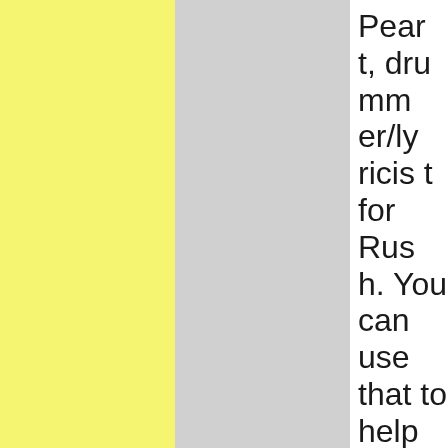Peart, drummer/lyricist for Rush. You can use that to help frame your story.